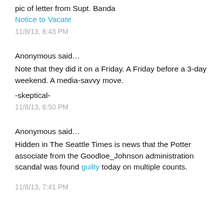pic of letter from Supt. Banda
Notice to Vacate
11/8/13, 6:43 PM
Anonymous said…
Note that they did it on a Friday. A Friday before a 3-day weekend. A media-savvy move.

-skeptical-
11/8/13, 6:50 PM
Anonymous said…
Hidden in The Seattle Times is news that the Potter associate from the Goodloe_Johnson administration scandal was found guilty today on multiple counts.
11/8/13, 7:41 PM